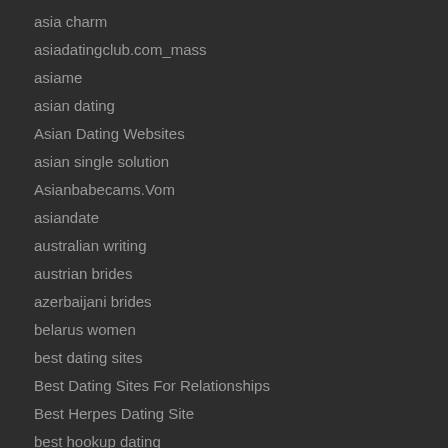asia charm
asiadatingclub.com_mass
asiame
asian dating
Asian Dating Websites
asian single solution
Asianbabecams.Vom
asiandate
australian writing
austrian brides
azerbaijani brides
belarus women
best dating sites
Best Dating Sites For Relationships
Best Herpes Dating Site
best hookup dating
best local hookup app